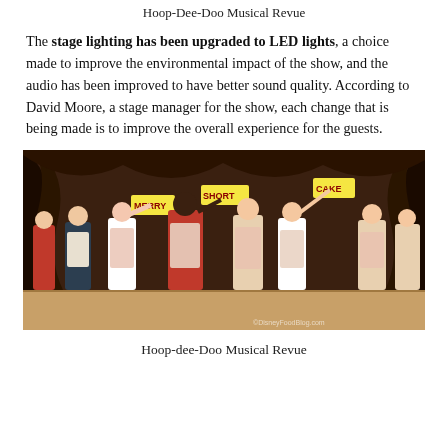Hoop-Dee-Doo Musical Revue
The stage lighting has been upgraded to LED lights, a choice made to improve the environmental impact of the show, and the audio has been improved to have better sound quality. According to David Moore, a stage manager for the show, each change that is being made is to improve the overall experience for the guests.
[Figure (photo): Performers on stage at Hoop-dee-Doo Musical Revue wearing red and white checkered costumes, holding signs reading BERRY, MERRY, SHORT, and CAKE, with stage curtains in background. Watermark: ©DisneyFoodBlog.com]
Hoop-dee-Doo Musical Revue